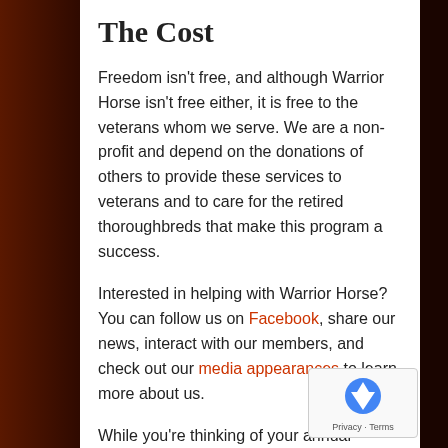The Cost
Freedom isn't free, and although Warrior Horse isn't free either, it is free to the veterans whom we serve. We are a non-profit and depend on the donations of others to provide these services to veterans and to care for the retired thoroughbreds that make this program a success.
Interested in helping with Warrior Horse? You can follow us on Facebook, share our news, interact with our members, and check out our media appearances to learn more about us.
While you're thinking of your annual holiday donations, consider Warrior Horse. Our first